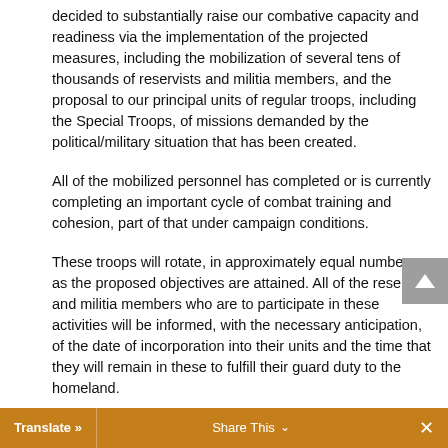decided to substantially raise our combative capacity and readiness via the implementation of the projected measures, including the mobilization of several tens of thousands of reservists and militia members, and the proposal to our principal units of regular troops, including the Special Troops, of missions demanded by the political/military situation that has been created.
All of the mobilized personnel has completed or is currently completing an important cycle of combat training and cohesion, part of that under campaign conditions.
These troops will rotate, in approximately equal numbers, as the proposed objectives are attained. All of the reservists and militia members who are to participate in these activities will be informed, with the necessary anticipation, of the date of incorporation into their units and the time that they will remain in these to fulfill their guard duty to the homeland.
To date, the mobilization that we began on August 1 has developed satisfactorily, thanks to the magnificent response by our reservists and militia members, as well as the commendable labor undertaken by the military commands and especially by the Defense Councils, under the leadership of [every] level.
Translate »   Share This   ×